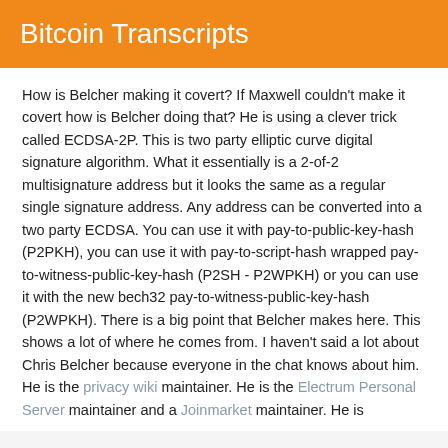Bitcoin Transcripts
How is Belcher making it covert? If Maxwell couldn't make it covert how is Belcher doing that? He is using a clever trick called ECDSA-2P. This is two party elliptic curve digital signature algorithm. What it essentially is a 2-of-2 multisignature address but it looks the same as a regular single signature address. Any address can be converted into a two party ECDSA. You can use it with pay-to-public-key-hash (P2PKH), you can use it with pay-to-script-hash wrapped pay-to-witness-public-key-hash (P2SH - P2WPKH) or you can use it with the new bech32 pay-to-witness-public-key-hash (P2WPKH). There is a big point that Belcher makes here. This shows a lot of where he comes from. I haven't said a lot about Chris Belcher because everyone in the chat knows about him. He is the privacy wiki maintainer. He is the Electrum Personal Server maintainer and a Joinmarket maintainer. He is